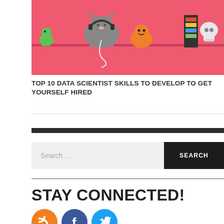[Figure (illustration): Cartoon illustration of animals (dinosaur, elephant, and others) sitting at a shelf with a pink/coral background. A cat-like figure with headphones sits at center on a shelf with small decorative items.]
TOP 10 DATA SCIENTIST SKILLS TO DEVELOP TO GET YOURSELF HIRED
Search ...
SEARCH
STAY CONNECTED!
[Figure (other): Row of social media icons: RSS (orange), Facebook (blue), Twitter (cyan/teal)]